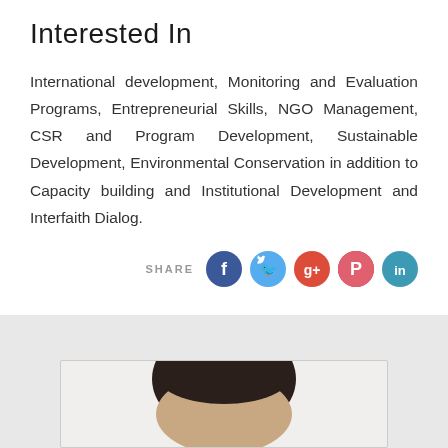Interested In
International development,  Monitoring and  Evaluation Programs,   Entrepreneurial Skills,  NGO  Management,  CSR and  Program  Development, Sustainable Development,  Environmental Conservation in addition to Capacity building and  Institutional  Development and  Interfaith  Dialog.
[Figure (infographic): Social share buttons: SHARE label followed by circular icons for Facebook (blue), Twitter (light blue), Google+ (red-orange), Pinterest (red-pink), LinkedIn (teal/blue)]
[Figure (photo): Partial photo of a person showing the top of their head with dark hair, framed in a rectangular border, set on a gray background at the bottom of the page.]